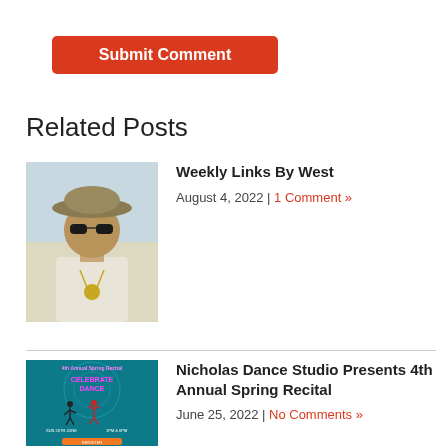Submit Comment
Related Posts
[Figure (photo): Man wearing a wide-brim hat and sunglasses, with necklace, light shirt]
Weekly Links By West
August 4, 2022 | 1 Comment »
[Figure (photo): Teal colored event flyer for 4th Annual Spring Recital - Celebrate Dance, Nicholas Dance Studio]
Nicholas Dance Studio Presents 4th Annual Spring Recital
June 25, 2022 | No Comments »